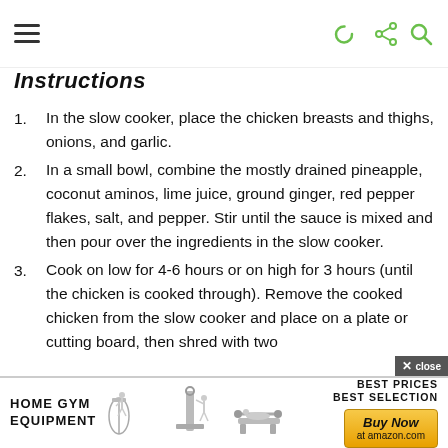≡  ☾ ⚙ 🔍
Instructions
In the slow cooker, place the chicken breasts and thighs, onions, and garlic.
In a small bowl, combine the mostly drained pineapple, coconut aminos, lime juice, ground ginger, red pepper flakes, salt, and pepper. Stir until the sauce is mixed and then pour over the ingredients in the slow cooker.
Cook on low for 4-6 hours or on high for 3 hours (until the chicken is cooked through). Remove the cooked chicken from the slow cooker and place on a plate or cutting board, then shred with two
HOME GYM EQUIPMENT  BEST PRICES BEST SELECTION  Buy Now at amazon.com